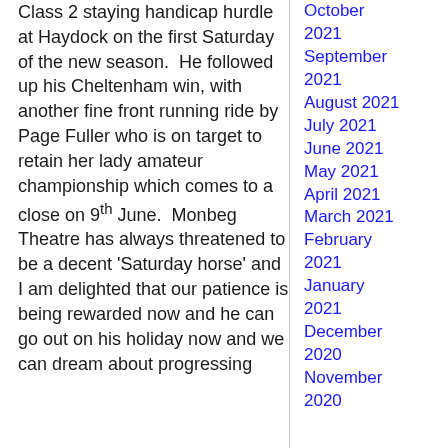Class 2 staying handicap hurdle at Haydock on the first Saturday of the new season.  He followed up his Cheltenham win, with another fine front running ride by Page Fuller who is on target to retain her lady amateur championship which comes to a close on 9th June.  Monbeg Theatre has always threatened to be a decent 'Saturday horse' and I am delighted that our patience is being rewarded now and he can go out on his holiday now and we can dream about progressing
October 2021
September 2021
August 2021
July 2021
June 2021
May 2021
April 2021
March 2021
February 2021
January 2021
December 2020
November 2020